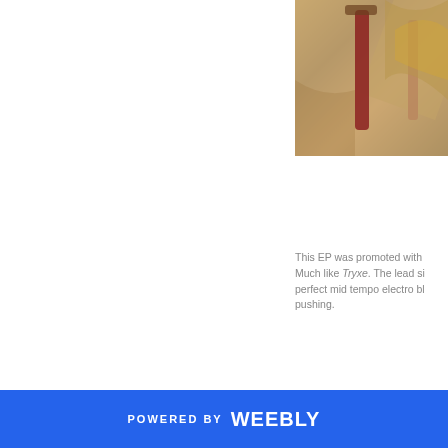[Figure (photo): Partial photo showing warm sepia/brown toned image with a bottle shape and abstract forms, cropped at right edge]
This EP was promoted with Much like Tryxe. The lead si perfect mid tempo electro bl pushing.
[Figure (photo): Purple-toned image with text overlay reading HAPPY LITTLE P in a white bordered rectangle]
POWERED BY weebly